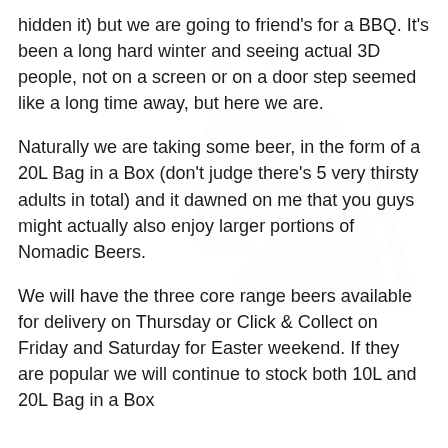hidden it) but we are going to friend's for a BBQ. It's been a long hard winter and seeing actual 3D people, not on a screen or on a door step seemed like a long time away, but here we are.
Naturally we are taking some beer, in the form of a 20L Bag in a Box (don't judge there's 5 very thirsty adults in total) and it dawned on me that you guys might actually also enjoy larger portions of Nomadic Beers.
We will have the three core range beers available for delivery on Thursday or Click & Collect on Friday and Saturday for Easter weekend. If they are popular we will continue to stock both 10L and 20L Bag in a Box